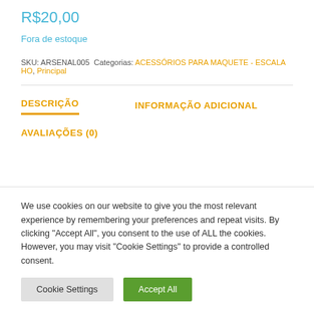R$20,00
Fora de estoque
SKU: ARSENAL005 Categorias: ACESSÓRIOS PARA MAQUETE - ESCALA HO, Principal
DESCRIÇÃO
INFORMAÇÃO ADICIONAL
AVALIAÇÕES (0)
We use cookies on our website to give you the most relevant experience by remembering your preferences and repeat visits. By clicking "Accept All", you consent to the use of ALL the cookies. However, you may visit "Cookie Settings" to provide a controlled consent.
Cookie Settings
Accept All